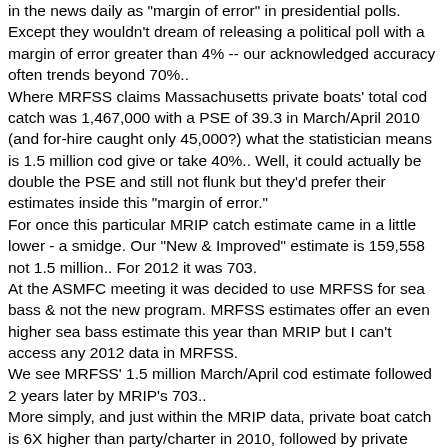in the news daily as "margin of error" in presidential polls. Except they wouldn't dream of releasing a political poll with a margin of error greater than 4% -- our acknowledged accuracy often trends beyond 70%..
Where MRFSS claims Massachusetts private boats' total cod catch was 1,467,000 with a PSE of 39.3 in March/April 2010 (and for-hire caught only 45,000?) what the statistician means is 1.5 million cod give or take 40%.. Well, it could actually be double the PSE and still not flunk but they'd prefer their estimates inside this "margin of error."
For once this particular MRIP catch estimate came in a little lower - a smidge. Our "New & Improved" estimate is 159,558 not 1.5 million.. For 2012 it was 703.
At the ASMFC meeting it was decided to use MRFSS for sea bass & not the new program. MRFSS estimates offer an even higher sea bass estimate this year than MRIP but I can't access any 2012 data in MRFSS.
We see MRFSS' 1.5 million March/April cod estimate followed 2 years later by MRIP's 703..
More simply, and just within the MRIP data, private boat catch is 6X higher than party/charter in 2010, followed by private boat being 6X lower than party/charter in 2012.
Betcha the same guys went fishing. Betcha most private